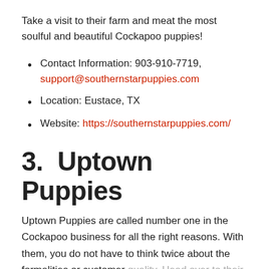Take a visit to their farm and meat the most soulful and beautiful Cockapoo puppies!
Contact Information: 903-910-7719, support@southernstarpuppies.com
Location: Eustace, TX
Website: https://southernstarpuppies.com/
3.   Uptown Puppies
Uptown Puppies are called number one in the Cockapoo business for all the right reasons. With them, you do not have to think twice about the formalities or customer quality. Head over to their website, and you will see how committed they are to being the best. They provide